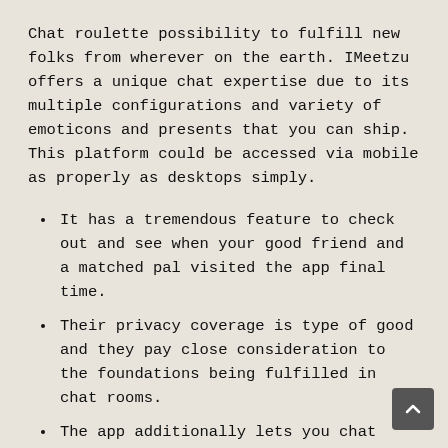Chat roulette possibility to fulfill new folks from wherever on the earth. IMeetzu offers a unique chat expertise due to its multiple configurations and variety of emoticons and presents that you can ship. This platform could be accessed via mobile as properly as desktops simply.
It has a tremendous feature to check out and see when your good friend and a matched pal visited the app final time.
Their privacy coverage is type of good and they pay close consideration to the foundations being fulfilled in chat rooms.
The app additionally lets you chat with random strangers online.
You also can tailor your choices to solely folks using a digicam, and you can pair with folks with microphones utilizing the audio filter.
Chatroulette is extremely straightforward to make use of because it has a beginner-friendly interface.
The platform can serve as a wonderful various choice to Omegle. Founded in 2000, TinyChat has experienced large growth ever since. The platform has hundreds of active customers on the